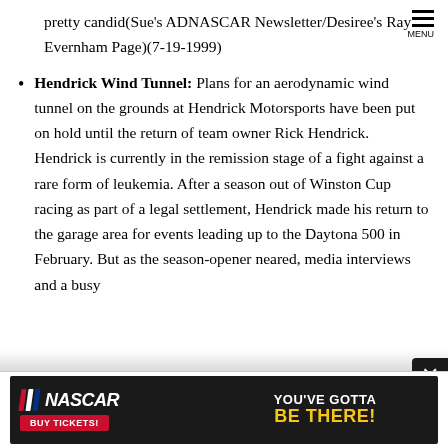pretty candid(Sue's ADNASCAR Newsletter/Desiree's Ray Evernham Page)(7-19-1999)
Hendrick Wind Tunnel: Plans for an aerodynamic wind tunnel on the grounds at Hendrick Motorsports have been put on hold until the return of team owner Rick Hendrick. Hendrick is currently in the remission stage of a fight against a rare form of leukemia. After a season out of Winston Cup racing as part of a legal settlement, Hendrick made his return to the garage area for events leading up to the Daytona 500 in February. But as the season-opener neared, media interviews and a busy
[Figure (other): NASCAR advertisement banner: NASCAR logo with 'BUY TICKETS!' button on left, 'YOU'VE GOTTA BE THERE!' text on right, dark background with car image]